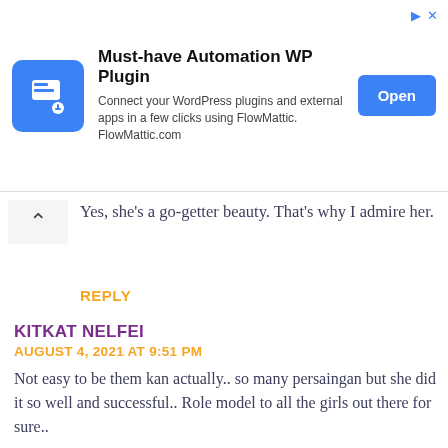[Figure (screenshot): Advertisement banner for 'Must-have Automation WP Plugin' by FlowMattic with blue logo, Open button, and ad icons.]
Yes, she's a go-getter beauty. That's why I admire her.
REPLY
KITKAT NELFEI
AUGUST 4, 2021 AT 9:51 PM
Not easy to be them kan actually.. so many persaingan but she did it so well and successful.. Role model to all the girls out there for sure..
FADIMA MOONEIRA
AUGUST 9, 2021 AT 8:56 AM
So true. I second everything you said.